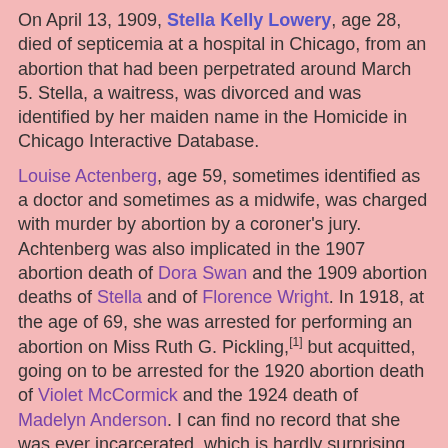On April 13, 1909, Stella Kelly Lowery, age 28, died of septicemia at a hospital in Chicago, from an abortion that had been perpetrated around March 5. Stella, a waitress, was divorced and was identified by her maiden name in the Homicide in Chicago Interactive Database.
Louise Actenberg, age 59, sometimes identified as a doctor and sometimes as a midwife, was charged with murder by abortion by a coroner's jury. Achtenberg was also implicated in the 1907 abortion death of Dora Swan and the 1909 abortion deaths of Stella and of Florence Wright. In 1918, at the age of 69, she was arrested for performing an abortion on Miss Ruth G. Pickling,[1] but acquitted, going on to be arrested for the 1920 abortion death of Violet McCormick and the 1924 death of Madelyn Anderson. I can find no record that she was ever incarcerated, which is hardly surprising, given how hospitable Chicago has typically been to the many doctors and midwives who perpetrated abortions in the city.
at 1:50 AM   No comments: